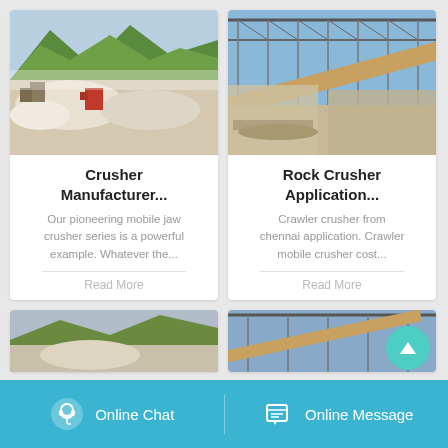[Figure (photo): Aerial view of a quarry/mining site with white stone piles and green mountains in the background]
Crusher Manufacturer...
Our pioneering mobile jaw crusher series is a powerful example. Whatever the...
Read More
[Figure (photo): Industrial construction site with steel framework roof trusses and a conveyor belt system]
Rock Crusher Application...
Crawler crusher from chennai application. Crawler mobile crusher cost...
Read More
[Figure (photo): Partial view of bottom-left card image]
[Figure (photo): Partial view of bottom-right card image showing steel framework]
Online Chat
Online Message